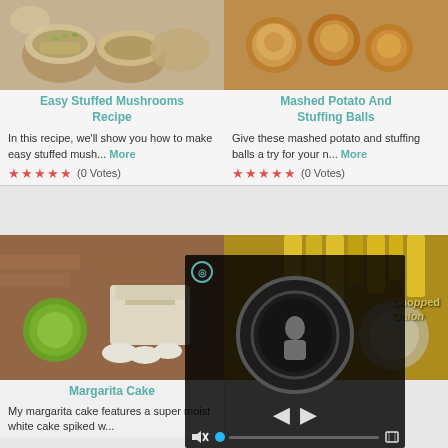[Figure (photo): Photo of stuffed mushrooms topped with rice/stuffing]
Easy Stuffed Mushrooms Recipe
In this recipe, we'll show you how to make easy stuffed mush... More
★★★★★ (0 Votes)
[Figure (photo): Photo of mashed potato stuffing balls]
Mashed Potato And Stuffing Balls
Give these mashed potato and stuffing balls a try for your n... More
★★★★★ (0 Votes)
[Figure (photo): Photo of margarita cake with lime and whipped cream]
Margarita Cake
My margarita cake features a super moist white cake spiked w... More
[Figure (photo): Photo of food items - appears to be fries and toppings]
[Figure (screenshot): Video player overlay showing circular player controls with play arrows, mute button, progress bar with blue dot, and fullscreen icon]